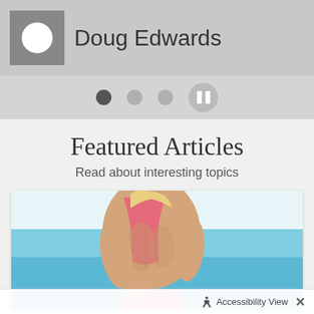Doug Edwards
[Figure (screenshot): Pagination dots row with one active dark dot, two lighter dots, and a pause button circle on the right]
Featured Articles
Read about interesting topics
[Figure (photo): Fitness photo showing muscular woman in pink sports bra from behind, at beach with blue water in background]
Accessibility View  X